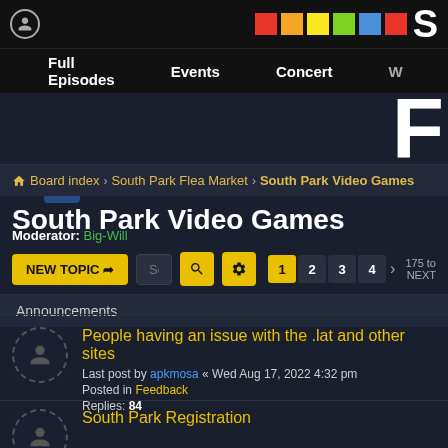South Park Forum - Navigation bar with Full Episodes, Events, Concert
Board index › South Park Flea Market › South Park Video Games
South Park Video Games
Moderator: Big-Will
NEW TOPIC | Search this forum... | 1 2 3 4 › | 175 to NEXT
Announcements
People having an issue with the .lat and other sites
Last post by apkmosa « Wed Aug 17, 2022 4:32 pm
Posted in Feedback
Replies: 84
South Park Registration